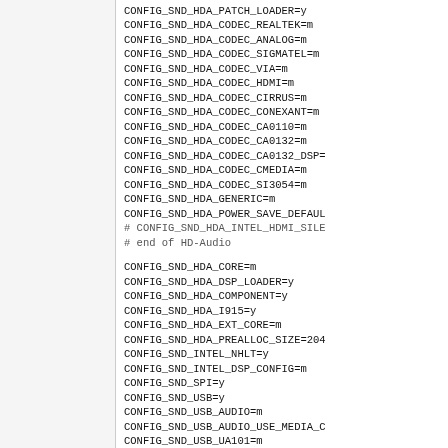CONFIG_SND_HDA_PATCH_LOADER=y
CONFIG_SND_HDA_CODEC_REALTEK=m
CONFIG_SND_HDA_CODEC_ANALOG=m
CONFIG_SND_HDA_CODEC_SIGMATEL=m
CONFIG_SND_HDA_CODEC_VIA=m
CONFIG_SND_HDA_CODEC_HDMI=m
CONFIG_SND_HDA_CODEC_CIRRUS=m
CONFIG_SND_HDA_CODEC_CONEXANT=m
CONFIG_SND_HDA_CODEC_CA0110=m
CONFIG_SND_HDA_CODEC_CA0132=m
CONFIG_SND_HDA_CODEC_CA0132_DSP=
CONFIG_SND_HDA_CODEC_CMEDIA=m
CONFIG_SND_HDA_CODEC_SI3054=m
CONFIG_SND_HDA_GENERIC=m
CONFIG_SND_HDA_POWER_SAVE_DEFAUL
# CONFIG_SND_HDA_INTEL_HDMI_SILE
# end of HD-Audio

CONFIG_SND_HDA_CORE=m
CONFIG_SND_HDA_DSP_LOADER=y
CONFIG_SND_HDA_COMPONENT=y
CONFIG_SND_HDA_I915=y
CONFIG_SND_HDA_EXT_CORE=m
CONFIG_SND_HDA_PREALLOC_SIZE=204
CONFIG_SND_INTEL_NHLT=y
CONFIG_SND_INTEL_DSP_CONFIG=m
CONFIG_SND_SPI=y
CONFIG_SND_USB=y
CONFIG_SND_USB_AUDIO=m
CONFIG_SND_USB_AUDIO_USE_MEDIA_C
CONFIG_SND_USB_UA101=m
CONFIG_SND_USB_USX2Y=m